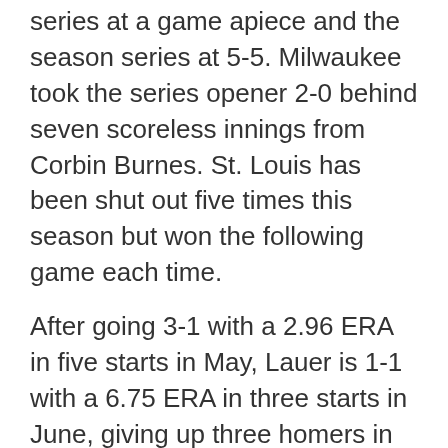series at a game apiece and the season series at 5-5. Milwaukee took the series opener 2-0 behind seven scoreless innings from Corbin Burnes. St. Louis has been shut out five times this season but won the following game each time.
After going 3-1 with a 2.96 ERA in five starts in May, Lauer is 1-1 with a 6.75 ERA in three starts in June, giving up three homers in each of his last two outings. Lauer got the win his last time out, allowing four runs in 6 1/3 innings in a 5-4 victory at Cincinnati.
"Eric's pitch count was in a great spot, he